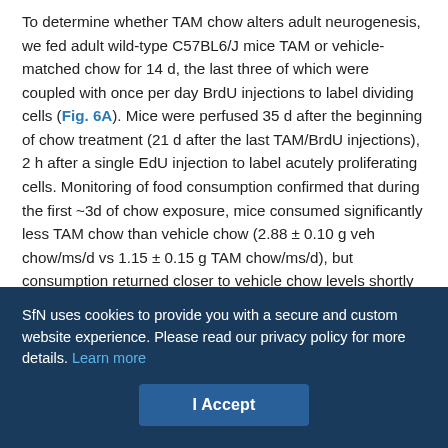To determine whether TAM chow alters adult neurogenesis, we fed adult wild-type C57BL6/J mice TAM or vehicle-matched chow for 14 d, the last three of which were coupled with once per day BrdU injections to label dividing cells (Fig. 6A). Mice were perfused 35 d after the beginning of chow treatment (21 d after the last TAM/BrdU injections), 2 h after a single EdU injection to label acutely proliferating cells. Monitoring of food consumption confirmed that during the first ~3d of chow exposure, mice consumed significantly less TAM chow than vehicle chow (2.88 ± 0.10 g veh chow/ms/d vs 1.15 ± 0.15 g TAM chow/ms/d), but consumption returned closer to vehicle chow levels shortly thereafter (Figs. 6B, 7A). Total average TAM consumption per mouse was 14.22 ± 0.95 mg, similar to that
SfN uses cookies to provide you with a secure and custom website experience. Please read our privacy policy for more details. Learn more